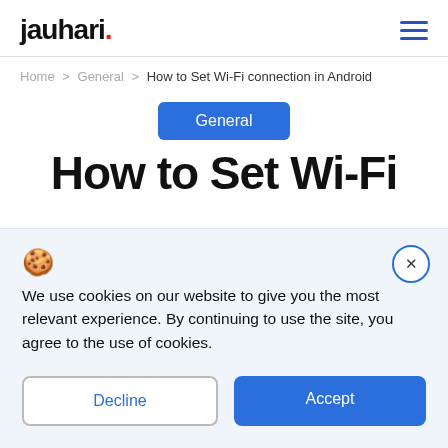jauhari.
Home > General > How to Set Wi-Fi connection in Android
General
How to Set Wi-Fi connection in Android
We use cookies on our website to give you the most relevant experience. By continuing to use the site, you agree to the use of cookies.
Decline
Accept